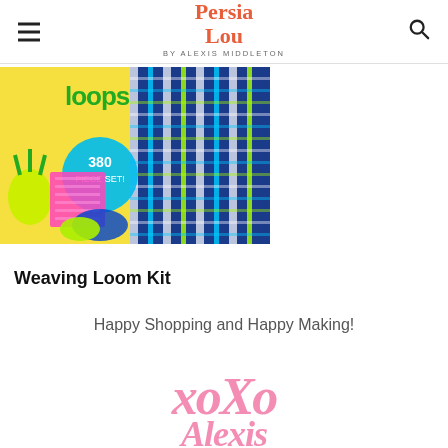Persia Lou by Alexis Middleton
[Figure (photo): Weaving Loom Kit product photo showing colorful loops, yarn, and woven fabric with '380 piece set' badge and tropical pineapple decoration]
Weaving Loom Kit
Happy Shopping and Happy Making!
[Figure (illustration): Pink handwritten-style cursive signature reading 'xoxo Alexis']